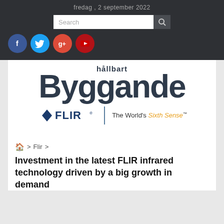fredag , 2 september 2022
[Figure (screenshot): Website header with dark background showing date, search box, and social media icons (Facebook, Twitter, Google+, YouTube)]
[Figure (logo): hållbart Byggande publication logo in dark blue/slate color]
[Figure (logo): FLIR logo with diamond shape and text FLIR, tagline: The World's Sixth Sense]
⌂ > Flir >
Investment in the latest FLIR infrared technology driven by a big growth in demand